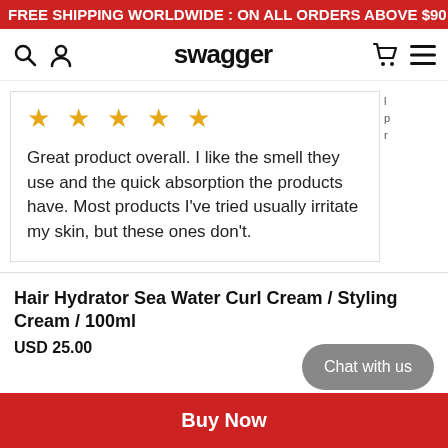FREE SHIPPING WORLDWIDE : ON ALL ORDERS ABOVE $90
Swagger (brand logo/nav)
Great product overall. I like the smell they use and the quick absorption the products have. Most products I've tried usually irritate my skin, but these ones don't.
Hair Hydrator Sea Water Curl Cream / Styling Cream / 100ml
USD 25.00
Chat with us
Buy Now